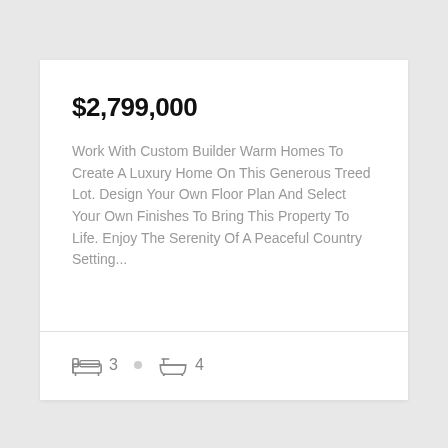$2,799,000
Work With Custom Builder Warm Homes To Create A Luxury Home On This Generous Treed Lot. Design Your Own Floor Plan And Select Your Own Finishes To Bring This Property To Life. Enjoy The Serenity Of A Peaceful Country Setting...
3 bedrooms • 4 bathrooms